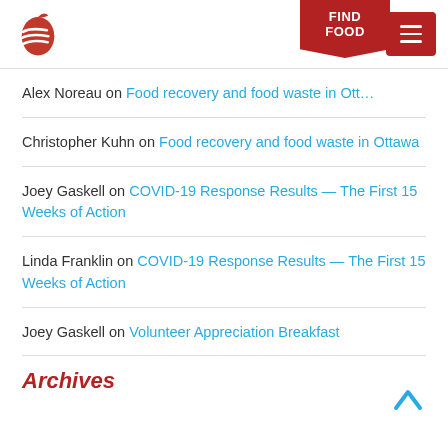Logo and navigation header with search and menu icons
Alex Noreau on Food recovery and food waste in Ott…
Christopher Kuhn on Food recovery and food waste in Ottawa
Joey Gaskell on COVID-19 Response Results — The First 15 Weeks of Action
Linda Franklin on COVID-19 Response Results — The First 15 Weeks of Action
Joey Gaskell on Volunteer Appreciation Breakfast
Archives